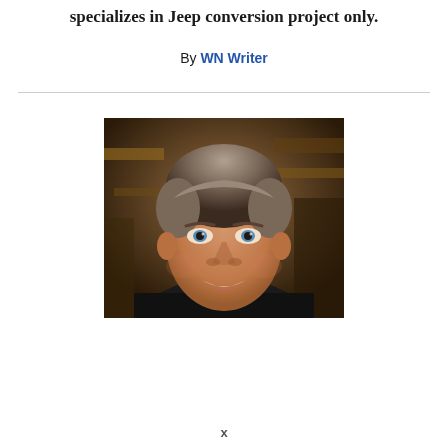specializes in Jeep conversion project only.
By WN Writer
[Figure (photo): Headshot of a middle-aged man with grey-brown hair, smiling broadly, wearing a dark top, photographed in what appears to be a workshop or garage setting with wooden structures in the background.]
x